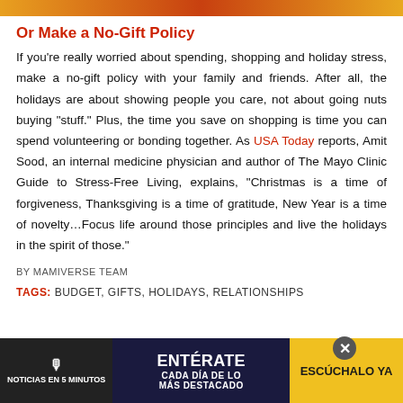[Figure (photo): Cropped top image strip with warm orange/red tones]
Or Make a No-Gift Policy
If you're really worried about spending, shopping and holiday stress, make a no-gift policy with your family and friends. After all, the holidays are about showing people you care, not about going nuts buying “stuff.” Plus, the time you save on shopping is time you can spend volunteering or bonding together. As USA Today reports, Amit Sood, an internal medicine physician and author of The Mayo Clinic Guide to Stress-Free Living, explains, “Christmas is a time of forgiveness, Thanksgiving is a time of gratitude, New Year is a time of novelty…Focus life around those principles and live the holidays in the spirit of those.”
BY MAMIVERSE TEAM
TAGS: BUDGET, GIFTS, HOLIDAYS, RELATIONSHIPS
[Figure (screenshot): Advertisement banner: NOTICIAS EN 5 MINUTOS / ENTÉRATE CADA DÍA DE LO MÁS DESTACADO / ESCÚCHALO YA]